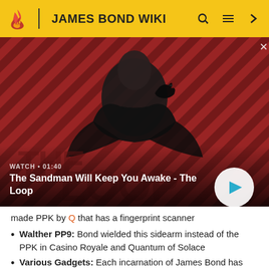JAMES BOND WIKI
[Figure (screenshot): Video thumbnail showing a dark figure with a raven on shoulder against a red and black diagonal striped background. Text overlay reads WATCH • 01:40 and title The Sandman Will Keep You Awake - The Loop with a play button.]
made PPK by Q that has a fingerprint scanner
Walther PP9: Bond wielded this sidearm instead of the PPK in Casino Royale and Quantum of Solace
Various Gadgets: Each incarnation of James Bond has wielded numerous gadgets, including custom